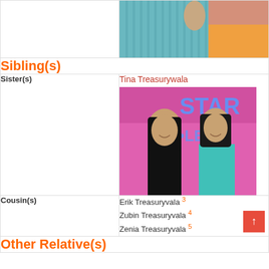[Figure (photo): Top portion: left cell empty white area; right cell shows partial photo of two women, one in striped teal top, one in yellow/orange top]
Sibling(s)
Sister(s)
Tina Treasurywala
[Figure (photo): Photo of two women posing in front of a pink 'STAR' backdrop; woman on left in black outfit, woman on right in teal dress]
Cousin(s)
Erik Treasuryvala 3
Zubin Treasuryvala 4
Zenia Treasuryvala 5
Other Relative(s)